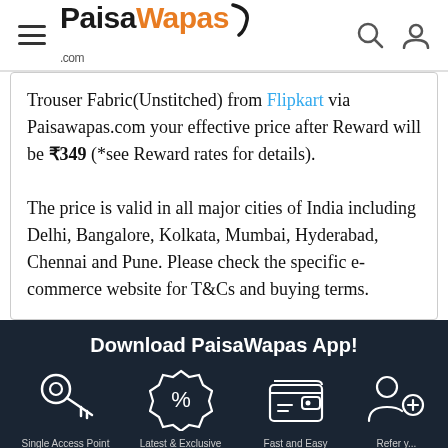PaisaWapas.com
Trouser Fabric(Unstitched) from Flipkart via Paisawapas.com your effective price after Reward will be ₹349 (*see Reward rates for details). The price is valid in all major cities of India including Delhi, Bangalore, Kolkata, Mumbai, Hyderabad, Chennai and Pune. Please check the specific e-commerce website for T&Cs and buying terms.
Download PaisaWapas App!
Single Access Point for All Online Stores
Latest & Exclusive Offers & Deals for You
Fast and Easy Cashback Experience
Refer ...
BUY NOW
We're Online!